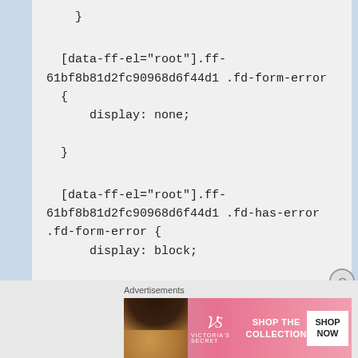}
[data-ff-el="root"].ff-61bf8b81d2fc90968d6f44d1 .fd-form-error {
    display: none;
  }
[data-ff-el="root"].ff-61bf8b81d2fc90968d6f44d1 .fd-has-error .fd-form-error {
    display: block;
  }
[Figure (other): Victoria's Secret advertisement banner with model photo, VS logo, 'SHOP THE COLLECTION' text, and 'SHOP NOW' button]